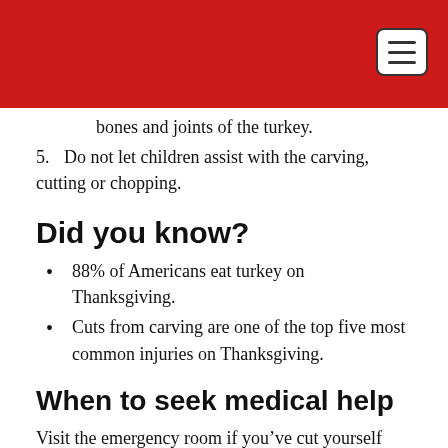bones and joints of the turkey.
5. Do not let children assist with the carving, cutting or chopping.
Did you know?
88% of Americans eat turkey on Thanksgiving.
Cuts from carving are one of the top five most common injuries on Thanksgiving.
When to seek medical help
Visit the emergency room if you’ve cut yourself and any of the following are true: